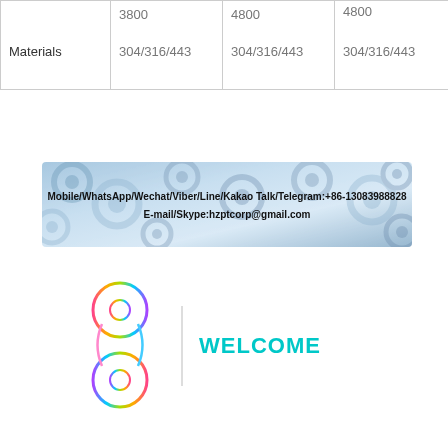|  | 3800 | 4800 | 4800 |
| --- | --- | --- | --- |
| Materials | 304/316/443 | 304/316/443 | 304/316/443 |
[Figure (illustration): Banner with gears background showing contact information: Mobile/WhatsApp/Wechat/Viber/Line/Kakao Talk/Telegram:+86-13083988828, E-mail/Skype:hzptcorp@gmail.com]
[Figure (logo): Colorful figure-8 / chain link shaped logo with rainbow gradient outline, accompanied by WELCOME text in cyan]